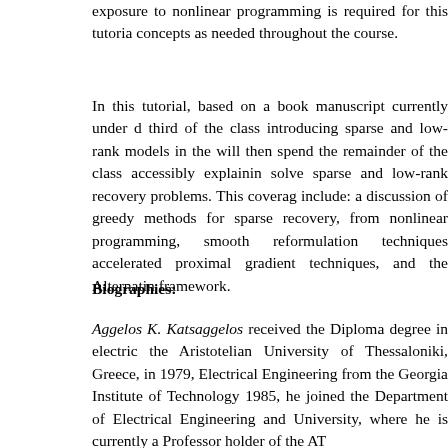exposure to nonlinear programming is required for this tutorial. concepts as needed throughout the course.
In this tutorial, based on a book manuscript currently under d third of the class introducing sparse and low-rank models in the will then spend the remainder of the class accessibly explainin solve sparse and low-rank recovery problems. This coverag include: a discussion of greedy methods for sparse recovery, from nonlinear programming, smooth reformulation techniques accelerated proximal gradient techniques, and the Alternatin framework.
Biographies:
Aggelos K. Katsaggelos received the Diploma degree in electric the Aristotelian University of Thessaloniki, Greece, in 1979, Electrical Engineering from the Georgia Institute of Technology 1985, he joined the Department of Electrical Engineering and University, where he is currently a Professor holder of the AT